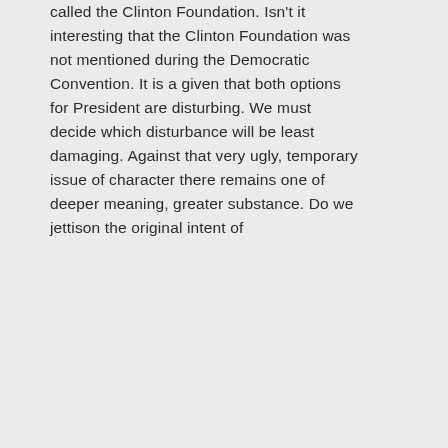called the Clinton Foundation. Isn't it interesting that the Clinton Foundation was not mentioned during the Democratic Convention. It is a given that both options for President are disturbing. We must decide which disturbance will be least damaging. Against that very ugly, temporary issue of character there remains one of deeper meaning, greater substance. Do we jettison the original intent of